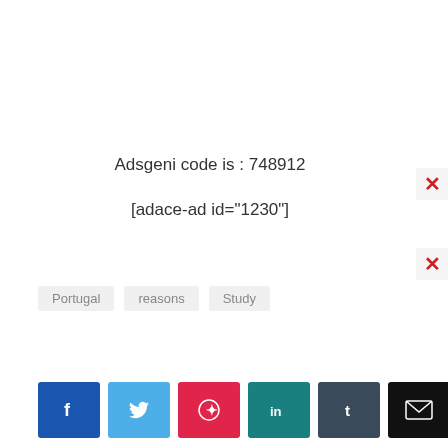Adsgeni code is : 748912
[adace-ad id="1230"]
Portugal
reasons
Study
[Figure (other): Social share buttons: Facebook, Twitter, Pinterest, LinkedIn, Tumblr, Email]